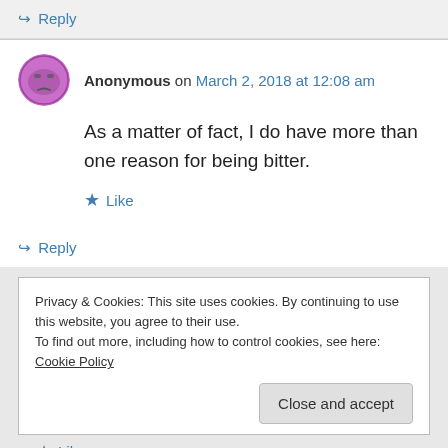↪ Reply
Anonymous on March 2, 2018 at 12:08 am
As a matter of fact, I do have more than one reason for being bitter.
★ Like
↪ Reply
Privacy & Cookies: This site uses cookies. By continuing to use this website, you agree to their use.
To find out more, including how to control cookies, see here: Cookie Policy
Close and accept
★ Like